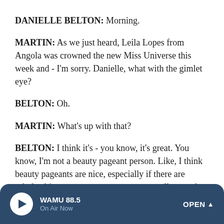DANIELLE BELTON: Morning.
MARTIN: As we just heard, Leila Lopes from Angola was crowned the new Miss Universe this week and - I'm sorry. Danielle, what with the gimlet eye?
BELTON: Oh.
MARTIN: What's up with that?
BELTON: I think it's - you know, it's great. You know, I'm not a beauty pageant person. Like, I think beauty pageants are nice, especially if there are scholarship programs so you can go to college and get a nice degree and hopefully get a good job and be a productive citizen and contribute to
WAMU 88.5  On Air Now  OPEN